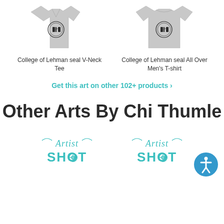[Figure (photo): Gray V-neck t-shirt with College of Lehman seal printed on front]
College of Lehman seal V-Neck Tee
[Figure (photo): Gray all-over print men's t-shirt with College of Lehman seal]
College of Lehman seal All Over Men's T-shirt
Get this art on other 102+ products >
Other Arts By Chi Thumle
[Figure (logo): Artist Shot logo in teal/cyan color]
[Figure (logo): Artist Shot logo in teal/cyan color]